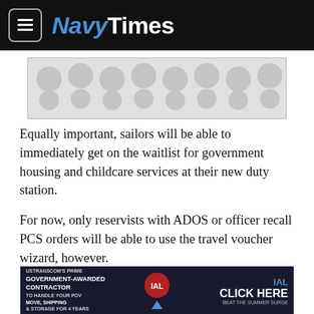NavyTimes
[Figure (other): Advertisement placeholder with decorative pattern (gray circles on light gray background)]
Equally important, sailors will be able to immediately get on the waitlist for government housing and childcare services at their new duty station.
For now, only reservists with ADOS or officer recall PCS orders will be able to use the travel voucher wizard, however.
“Sailors can generate their checklist online at any time and tasks are listed chronologically to improve the overall move experience for Sailors and their dependents,” according to the
[Figure (other): Advertisement banner: USTRANSCOM's prime government-awarded contractor to handle your POV move, shipping & storage for 4 years. IAL - CLICK HERE BEAT THE SUMMER SURGE]